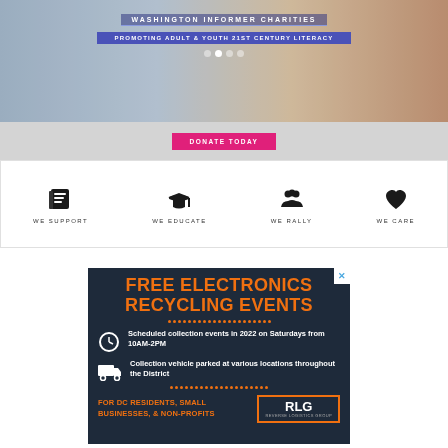[Figure (screenshot): Washington Informer Charities banner with photos of children, subtitle 'Promoting Adult & Youth 21st Century Literacy', navigation dots, and a pink Donate Today button]
[Figure (infographic): Four icons: book (WE SUPPORT), graduation cap (WE EDUCATE), group of people (WE RALLY), heart (WE CARE)]
[Figure (infographic): Advertisement: FREE ELECTRONICS RECYCLING EVENTS. Scheduled collection events in 2022 on Saturdays from 10AM-2PM. Collection vehicle parked at various locations throughout the District. FOR DC RESIDENTS, SMALL BUSINESSES, & NON-PROFITS. RLG Reverse Logistics Group.]